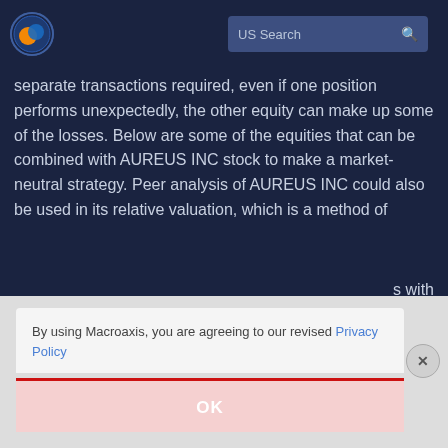[Figure (logo): Macroaxis circular logo with orange and blue globe icon]
US Search
separate transactions required, even if one position performs unexpectedly, the other equity can make up some of the losses. Below are some of the equities that can be combined with AUREUS INC stock to make a market-neutral strategy. Peer analysis of AUREUS INC could also be used in its relative valuation, which is a method of
s with
By using Macroaxis, you are agreeing to our revised Privacy Policy
OK